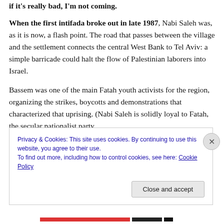if it's really bad, I'm not coming.
When the first intifada broke out in late 1987, Nabi Saleh was, as it is now, a flash point. The road that passes between the village and the settlement connects the central West Bank to Tel Aviv: a simple barricade could halt the flow of Palestinian laborers into Israel.
Bassem was one of the main Fatah youth activists for the region, organizing the strikes, boycotts and demonstrations that characterized that uprising. (Nabi Saleh is solidly loyal to Fatah, the secular nationalist party
Privacy & Cookies: This site uses cookies. By continuing to use this website, you agree to their use.
To find out more, including how to control cookies, see here: Cookie Policy
Close and accept